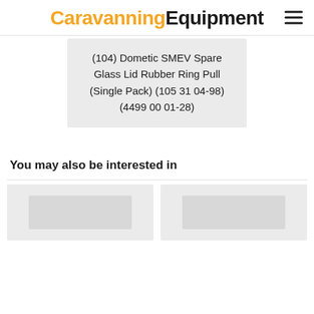CaravanningEquipment
(104) Dometic SMEV Spare Glass Lid Rubber Ring Pull (Single Pack) (105 31 04-98) (4499 00 01-28)
You may also be interested in
[Figure (photo): Two product thumbnail placeholder images in a grid below the 'You may also be interested in' section]
[Figure (photo): Second product thumbnail placeholder image]